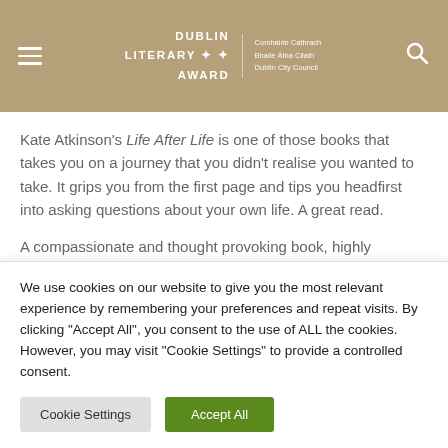Dublin Literary Award | Comhairle Cathrach Bhaile Átha Cliath Dublin City Council
Kate Atkinson's Life After Life is one of those books that takes you on a journey that you didn't realise you wanted to take. It grips you from the first page and tips you headfirst into asking questions about your own life. A great read.
A compassionate and thought provoking book, highly inventive and suprising. This is a novel that we think deserves to be read and enjoyed.
We use cookies on our website to give you the most relevant experience by remembering your preferences and repeat visits. By clicking "Accept All", you consent to the use of ALL the cookies. However, you may visit "Cookie Settings" to provide a controlled consent.